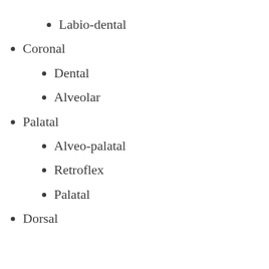Labio-dental
Coronal
Dental
Alveolar
Palatal
Alveo-palatal
Retroflex
Palatal
Dorsal